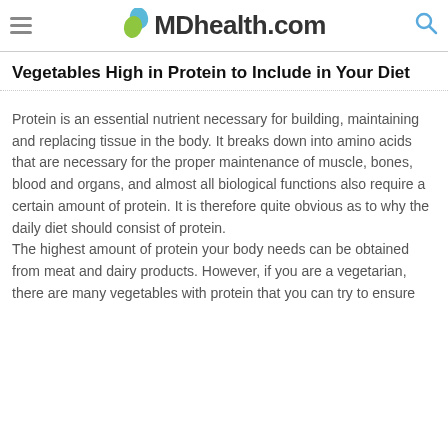MDhealth.com
Vegetables High in Protein to Include in Your Diet
Protein is an essential nutrient necessary for building, maintaining and replacing tissue in the body. It breaks down into amino acids that are necessary for the proper maintenance of muscle, bones, blood and organs, and almost all biological functions also require a certain amount of protein. It is therefore quite obvious as to why the daily diet should consist of protein.
The highest amount of protein your body needs can be obtained from meat and dairy products. However, if you are a vegetarian, there are many vegetables with protein that you can try to ensure